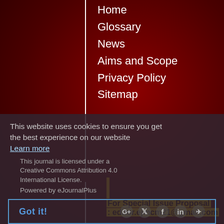Home
Glossary
News
Aims and Scope
Privacy Policy
Sitemap
For Special Issue Proposal : editor.ejmcm21@gmail.com
This journal is licensed under a Creative Commons Attribution 4.0 International License.
This website uses cookies to ensure you get the best experience on our website Learn more
Powered by eJournalPlus
Got it!